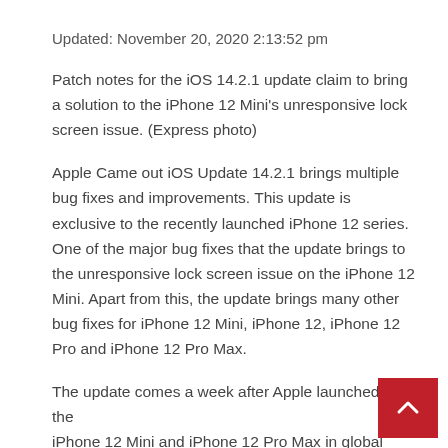Updated: November 20, 2020 2:13:52 pm
Patch notes for the iOS 14.2.1 update claim to bring a solution to the iPhone 12 Mini's unresponsive lock screen issue. (Express photo)
Apple Came out iOS Update 14.2.1 brings multiple bug fixes and improvements. This update is exclusive to the recently launched iPhone 12 series. One of the major bug fixes that the update brings to the unresponsive lock screen issue on the iPhone 12 Mini. Apart from this, the update brings many other bug fixes for iPhone 12 Mini, iPhone 12, iPhone 12 Pro and iPhone 12 Pro Max.
The update comes a week after Apple launched the iPhone 12 Mini and iPhone 12 Pro Max in global markets. To get the latest iOS 14.2.1 update, you can go